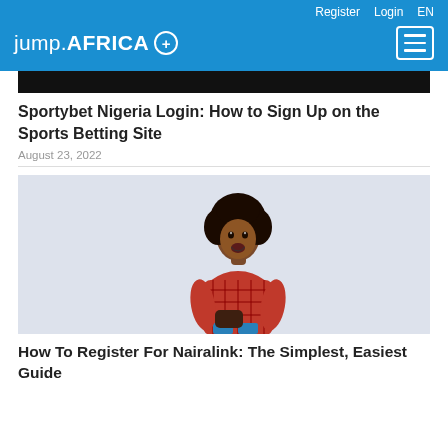Register  Login  EN
jump.AFRICA +
[Figure (illustration): Black banner image at top of article content area]
Sportybet Nigeria Login: How to Sign Up on the Sports Betting Site
August 23, 2022
[Figure (photo): A young woman in a red plaid shirt looking at her phone with a surprised expression, standing against a light background]
How To Register For Nairalink: The Simplest, Easiest Guide